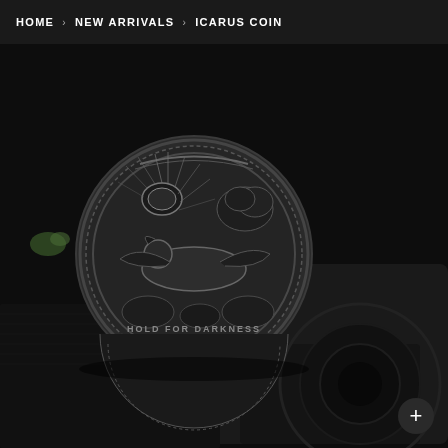HOME › NEW ARRIVALS › ICARUS COIN
[Figure (photo): Close-up photograph of a detailed silver/dark metal coin featuring the Icarus myth scene. The coin shows a reclining figure (Icarus) with a sun above and trees framing the scene, surrounded by ornate decorative border. Text on the coin reads 'HOLD FOR DARKNESS'. The coin is resting on what appears to be a dark textured camera body with lens visible in the background. A '+' button overlay appears in the lower right corner.]